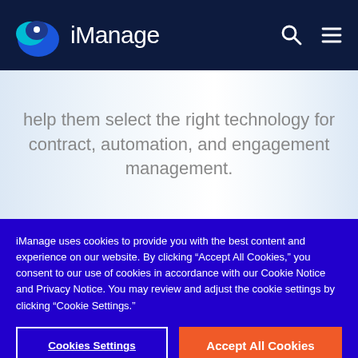iManage
help them select the right technology for contract, automation, and engagement management.
iManage uses cookies to provide you with the best content and experience on our website. By clicking “Accept All Cookies,” you consent to our use of cookies in accordance with our Cookie Notice and Privacy Notice. You may review and adjust the cookie settings by clicking “Cookie Settings.”
Cookies Settings
Accept All Cookies